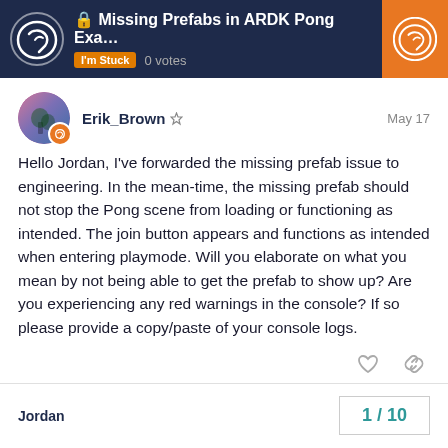🔒 Missing Prefabs in ARDK Pong Exa… | I'm Stuck  0 votes
Erik_Brown  May 17
Hello Jordan, I've forwarded the missing prefab issue to engineering. In the mean-time, the missing prefab should not stop the Pong scene from loading or functioning as intended. The join button appears and functions as intended when entering playmode. Will you elaborate on what you mean by not being able to get the prefab to show up? Are you experiencing any red warnings in the console? If so please provide a copy/paste of your console logs.
Jordan  1 / 10